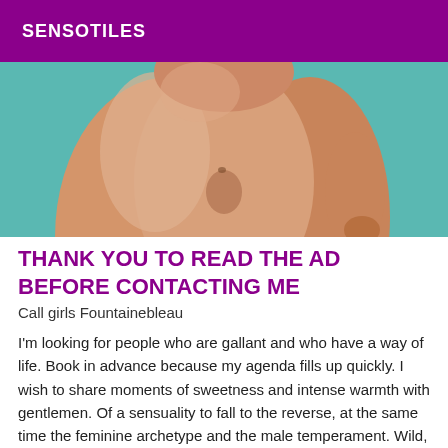SENSOTILES
[Figure (photo): Cropped photo of a nude female figure against a teal/green background, showing torso from waist level.]
THANK YOU TO READ THE AD BEFORE CONTACTING ME
Call girls Fountainebleau
I'm looking for people who are gallant and who have a way of life. Book in advance because my agenda fills up quickly. I wish to share moments of sweetness and intense warmth with gentlemen. Of a sensuality to fall to the reverse, at the same time the feminine archetype and the male temperament. Wild, feline, free and bewitching, a sense of repertoa, but also a monster...